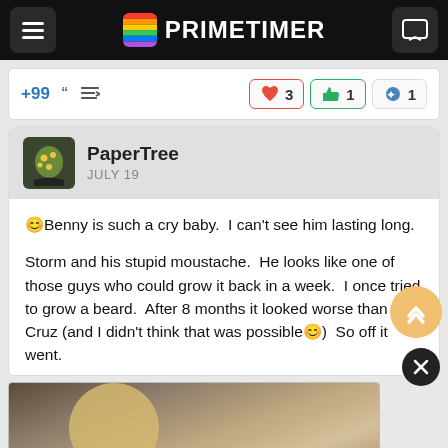PRIMETIMER
+99  "  < [reaction buttons: heart 3, thumb 1, pop 1]
PaperTree
JULY 19
😊Benny is such a cry baby.  I can't see him lasting long.

Storm and his stupid moustache.  He looks like one of those guys who could grow it back in a week.  I once tried to grow a beard.  After 8 months it looked worse than Ted Cruz (and I didn't think that was possible😊)  So off it went.
[Figure (screenshot): Screenshot of a mobile app showing a photo of a blonde child and an advertisement for BitLife - Life Simulator by Candywriter, LLC with an Install button]